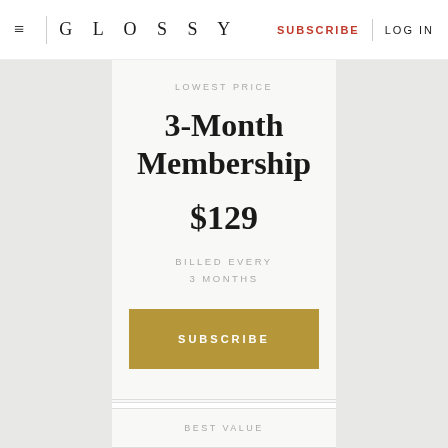GLOSSY | SUBSCRIBE | LOG IN
LOWEST PRICE
3-Month Membership
$129
BILLED EVERY 3 MONTHS
SUBSCRIBE
BEST VALUE